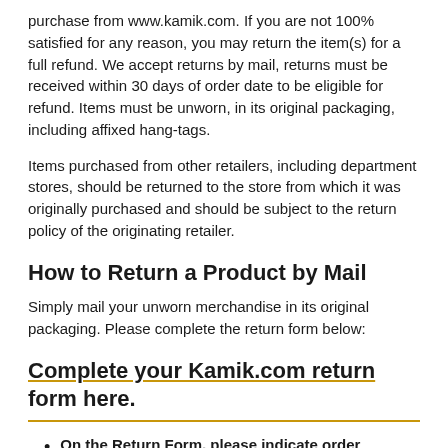purchase from www.kamik.com. If you are not 100% satisfied for any reason, you may return the item(s) for a full refund. We accept returns by mail, returns must be received within 30 days of order date to be eligible for refund. Items must be unworn, in its original packaging, including affixed hang-tags.
Items purchased from other retailers, including department stores, should be returned to the store from which it was originally purchased and should be subject to the return policy of the originating retailer.
How to Return a Product by Mail
Simply mail your unworn merchandise in its original packaging. Please complete the return form below:
Complete your Kamik.com return form here.
On the Return Form, please indicate order number, the product, the reason code and the quantity of each item you wish to return.